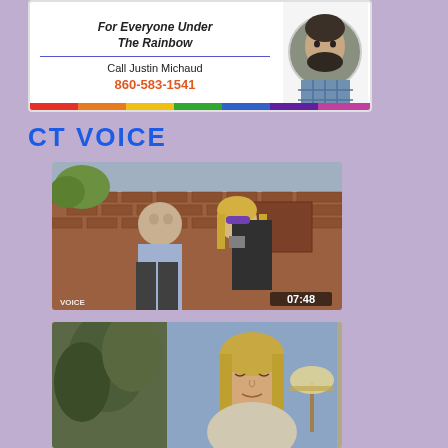[Figure (photo): Advertisement for real estate agent Justin Michaud with tagline For Everyone Under The Rainbow, phone number 860-583-1541, and a circular headshot photo of a bearded man]
CT VOICE
[Figure (photo): Video thumbnail showing a man and a woman standing outside a brick building, with timestamp 07:48 and VOICE watermark in lower left]
[Figure (photo): Video thumbnail showing a woman with eyes closed in what appears to be a video call or interview setting, with a lamp visible on the right]